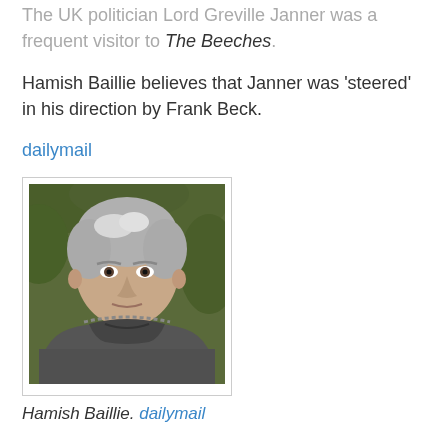The UK politician Lord Greville Janner was a frequent visitor to The Beeches.
Hamish Baillie believes that Janner was 'steered' in his direction by Frank Beck.
dailymail
[Figure (photo): Portrait photo of Hamish Baillie, a middle-aged man with grey hair wearing a grey padded jacket, standing outdoors with greenery in the background.]
Hamish Baillie. dailymail
Janner turned up seven times at the games arcade frequented by Hamish Baillie in Leicester.